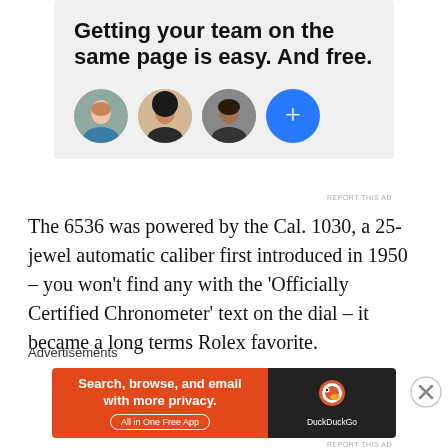[Figure (screenshot): Advertisement banner with text 'Getting your team on the same page is easy. And free.' with three circular profile photos and a blue plus button on a light gray background]
REPORT THIS AD
The 6536 was powered by the Cal. 1030, a 25-jewel automatic caliber first introduced in 1950 – you won't find any with the 'Officially Certified Chronometer' text on the dial – it became a long terms Rolex favorite.
Advertisements
[Figure (screenshot): DuckDuckGo advertisement banner: orange left side with text 'Search, browse, and email with more privacy. All in One Free App', dark right side with DuckDuckGo logo and text]
REPORT THIS AD